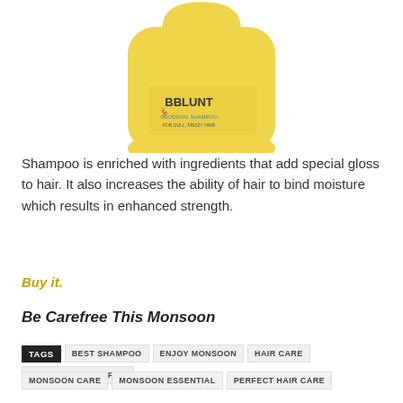[Figure (photo): Yellow BBLUNT shampoo bottle, partially cropped, shown from upper portion against white background]
Shampoo is enriched with ingredients that add special gloss to hair. It also increases the ability of hair to bind moisture which results in enhanced strength.
Buy it.
Be Carefree This Monsoon
TAGS  BEST SHAMPOO  ENJOY MONSOON  HAIR CARE  HARE CARE SHAMPOO  MONSOON CARE  MONSOON ESSENTIAL  PERFECT HAIR CARE